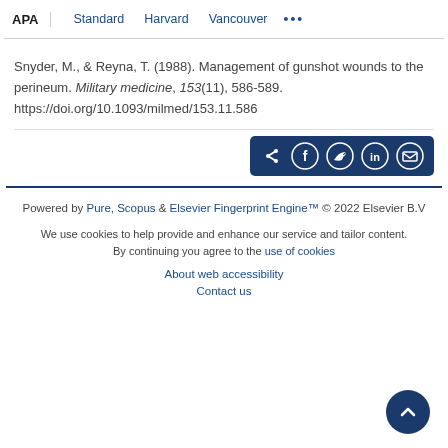APA | Standard | Harvard | Vancouver | ...
Snyder, M., & Reyna, T. (1988). Management of gunshot wounds to the perineum. Military medicine, 153(11), 586-589. https://doi.org/10.1093/milmed/153.11.586
[Figure (other): Share button bar with icons for share, Facebook, Twitter, LinkedIn, and email on dark blue background]
Powered by Pure, Scopus & Elsevier Fingerprint Engine™ © 2022 Elsevier B.V
We use cookies to help provide and enhance our service and tailor content. By continuing you agree to the use of cookies
About web accessibility
Contact us